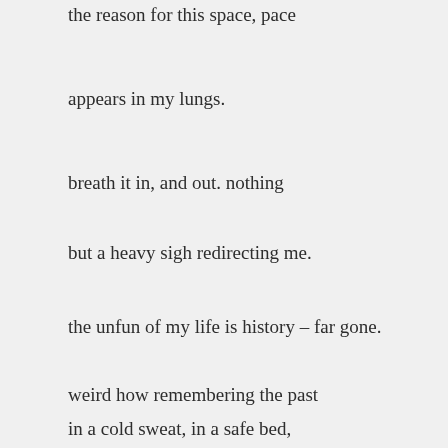the reason for this space, pace
appears in my lungs.
breath it in, and out. nothing
but a heavy sigh redirecting me.
the unfun of my life is history – far gone.
weird how remembering the past
in a cold sweat, in a safe bed,